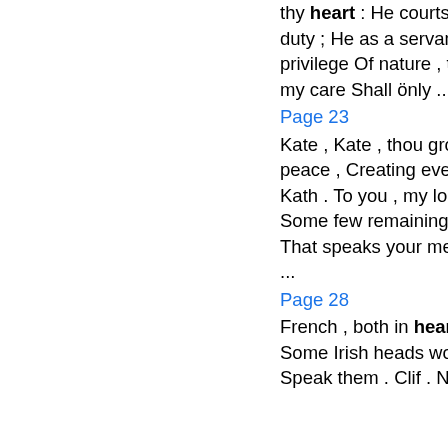thy heart : He courts thee for affection , I for duty ; He as a servant pleads ; but by the privilege Of nature , though I might command , my care Shall önly ...
Page 23
Kate , Kate , thou grow'st upon my heart , like peace , Creating every other hour a jubilee . Kath . To you , my lord of Dalyell , I address Some few remaining words : the general fame That speaks your merit , even in vulgar tongues ...
Page 28
French , both in heart and actions . K. Hen . Some Irish heads work in this mine of treason ; Speak them . Clif . Not